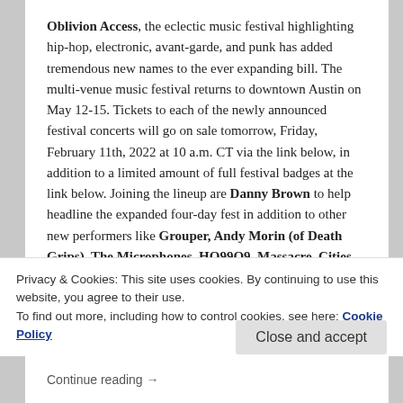Oblivion Access, the eclectic music festival highlighting hip-hop, electronic, avant-garde, and punk has added tremendous new names to the ever expanding bill. The multi-venue music festival returns to downtown Austin on May 12-15. Tickets to each of the newly announced festival concerts will go on sale tomorrow, Friday, February 11th, 2022 at 10 a.m. CT via the link below, in addition to a limited amount of full festival badges at the link below. Joining the lineup are Danny Brown to help headline the expanded four-day fest in addition to other new performers like Grouper, Andy Morin (of Death Grips), The Microphones, HO99O9, Massacre, Cities Aviv, King Woman, Billy Woods, and KTRK, among others. Over 100+ artists
Privacy & Cookies: This site uses cookies. By continuing to use this website, you agree to their use.
To find out more, including how to control cookies, see here: Cookie Policy
Close and accept
Continue reading →